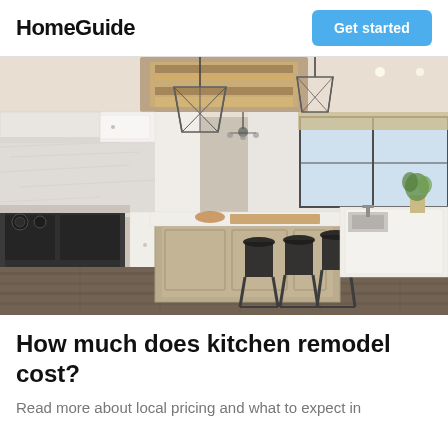HomeGuide | Get started
[Figure (photo): Bright modern kitchen interior with white cabinets, large kitchen island with white countertop and bar stools, stainless steel appliances, geometric pendant lights, wood-beamed ceiling accents, and hardwood floors.]
How much does kitchen remodel cost?
Read more about local pricing and what to expect in